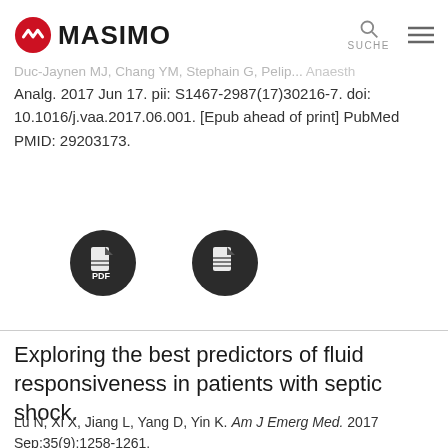Masimo
Duc-Jaynen MJ, Chang YM, Stephain G, Pelip... Anaesth Analg. 2017 Jun 17. pii: S1467-2987(17)30216-7. doi: 10.1016/j.vaa.2017.06.001. [Epub ahead of print] PubMed PMID: 29203173.
[Figure (other): Two dark circular icon buttons with document/file icons]
Exploring the best predictors of fluid responsiveness in patients with septic shock.
Lu N, Xi X, Jiang L, Yang D, Yin K. Am J Emerg Med. 2017 Sep;35(9):1258-1261.
[Figure (other): Two dark circular icon buttons with document/file icons (partially visible)]